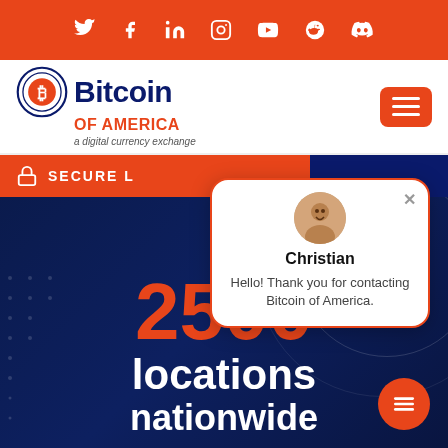Social media icons: Twitter, Facebook, LinkedIn, Instagram, YouTube, Reddit, Discord
[Figure (logo): Bitcoin of America logo with circular Bitcoin emblem, text 'Bitcoin OF AMERICA', tagline 'a digital currency exchange']
SECURE L...
[Figure (screenshot): Chat popup with agent Christian saying 'Hello! Thank you for contacting Bitcoin of America.']
2500
locations nationwide